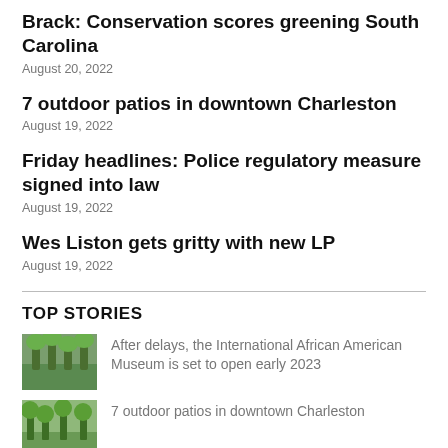Brack: Conservation scores greening South Carolina
August 20, 2022
7 outdoor patios in downtown Charleston
August 19, 2022
Friday headlines: Police regulatory measure signed into law
August 19, 2022
Wes Liston gets gritty with new LP
August 19, 2022
TOP STORIES
After delays, the International African American Museum is set to open early 2023
7 outdoor patios in downtown Charleston